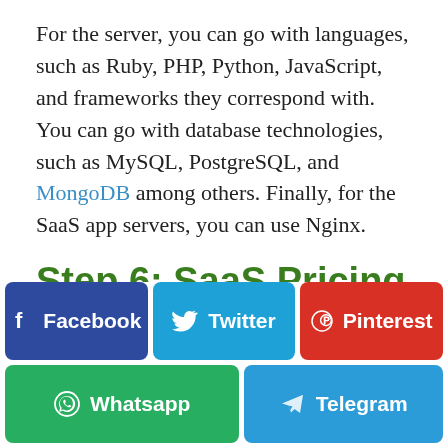For the server, you can go with languages, such as Ruby, PHP, Python, JavaScript, and frameworks they correspond with. You can go with database technologies, such as MySQL, PostgreSQL, and MongoDB among others. Finally, for the SaaS app servers, you can use Nginx.
Step 6: SaaS Pricing model
[Figure (infographic): Social media share buttons: Facebook (dark blue), Twitter (light blue), Pinterest (red) in top row; Whatsapp (green) and Telegram (blue) in bottom row.]